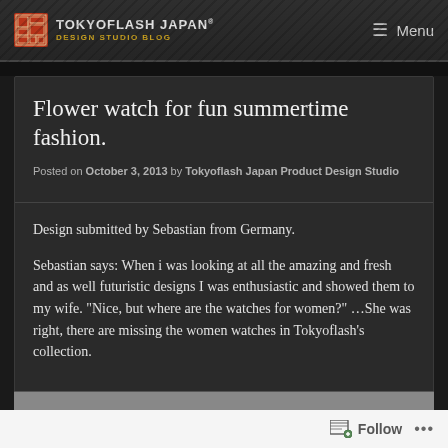TOKYOFLASH JAPAN® DESIGN STUDIO BLOG  Menu
Flower watch for fun summertime fashion.
Posted on October 3, 2013 by Tokyoflash Japan Product Design Studio
Design submitted by Sebastian from Germany.
Sebastian says: When i was looking at all the amazing and fresh and as well futuristic designs I was enthusiastic and showed them to my wife. "Nice, but where are the watches for women?" …She was right, there are missing the women watches in Tokyoflash's collection.
Follow  •••